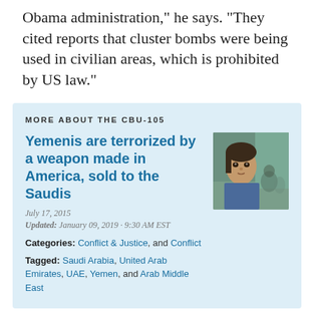Obama administration," he says. "They cited reports that cluster bombs were being used in civilian areas, which is prohibited by US law."
MORE ABOUT THE CBU-105
Yemenis are terrorized by a weapon made in America, sold to the Saudis
July 17, 2015
Updated: January 09, 2019 · 9:30 AM EST
Categories: Conflict & Justice, and Conflict
Tagged: Saudi Arabia, United Arab Emirates, UAE, Yemen, and Arab Middle East
[Figure (photo): Photo of a young girl, appears to be a Yemeni child, looking at camera]
The CBU-105, which we examine in depth elsewhere on PRI.org, is a sophisticated air-to-